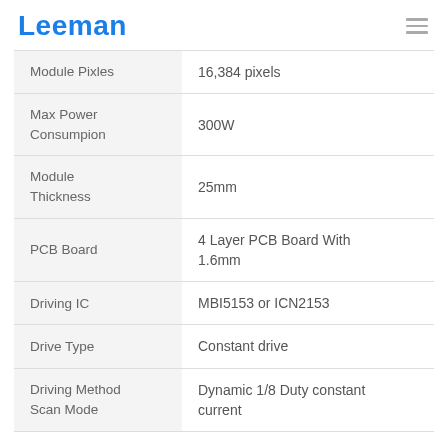Leeman
| Module Pixles | 16,384 pixels |
| Max Power Consumpion | 300W |
| Module Thickness | 25mm |
| PCB Board | 4 Layer PCB Board With 1.6mm |
| Driving IC | MBI5153 or ICN2153 |
| Drive Type | Constant drive |
| Driving Method Scan Mode | Dynamic 1/8 Duty constant current |